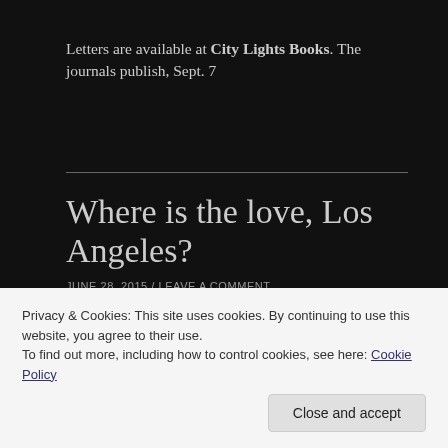Letters are available at City Lights Books. The journals publish, Sept. 7
Where is the love, Los Angeles?
JUNE 28, 2015 / LEAVE A COMMENT
[Figure (photo): Partial photo of a person, appears to show pink/colorful clothing or items]
Privacy & Cookies: This site uses cookies. By continuing to use this website, you agree to their use.
To find out more, including how to control cookies, see here: Cookie Policy
Close and accept